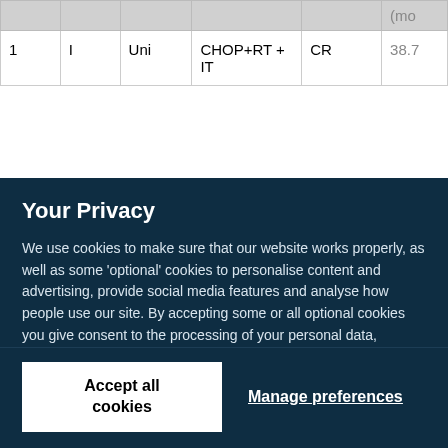|  |  |  |  |  | (mo |
| --- | --- | --- | --- | --- | --- |
| 1 | I | Uni | CHOP+RT + IT | CR | 38.7 |
Your Privacy
We use cookies to make sure that our website works properly, as well as some 'optional' cookies to personalise content and advertising, provide social media features and analyse how people use our site. By accepting some or all optional cookies you give consent to the processing of your personal data, including transfer to third parties, some in countries outside of the European Economic Area that do not offer the same data protection standards as the country where you live. You can decide which optional cookies to accept by clicking on 'Manage Settings', where you can also find more information about how your personal data is processed. Further information can be found in our privacy policy.
Accept all cookies
Manage preferences